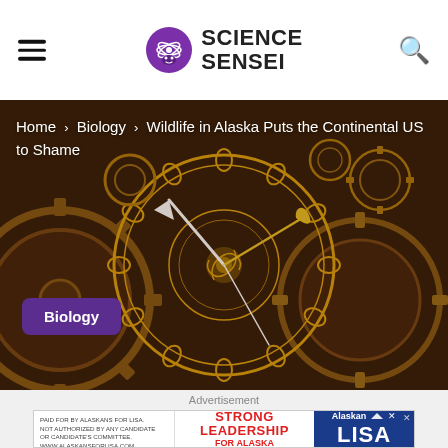Science Sensei
[Figure (photo): Background image of ornate golden clock gears and mechanisms on dark brown background, with clock hands visible in center]
Home › Biology › Wildlife in Alaska Puts the Continental US to Shame
Biology
Advertisement
[Figure (other): Advertisement banner: PAID FOR BY ALASKANS FOR LISA. NOT AUTHORIZED BY ANY CANDIDATE OR CANDIDATE'S COMMITTEE. WWW.ALASKANSFORLISA.COM | STRONG LEADERSHIP FOR ALASKA | Alaskan LISA]